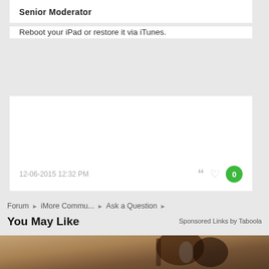Senior Moderator
Reboot your iPad or restore it via iTunes.
12-06-2015 12:32 PM
Forum › iMore Commu... › Ask a Question ›
You May Like
Sponsored Links by Taboola
[Figure (photo): Sepia-toned outdoor lantern/light fixture mounted on a textured stone wall]